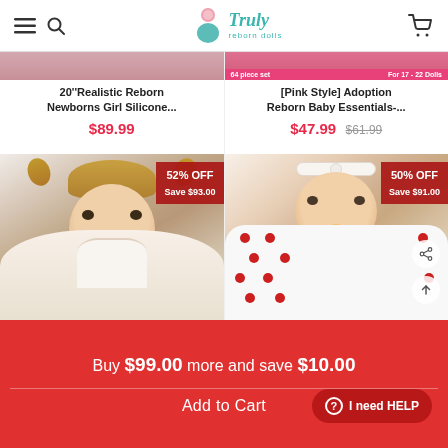Truly reborn dolls — navigation header with menu, search, logo, cart icons
20''Realistic Reborn Newborns Girl Silicone...
[Pink Style] Adoption Reborn Baby Essentials-...
$89.99
$47.99  $61.99
[Figure (photo): Reborn doll girl with blonde hair pigtails in white lace outfit, 52% OFF Save $93.00 badge]
[Figure (photo): Reborn baby doll in white polka-dot outfit with bow headband, 50% OFF Save $91.00 badge]
Buy $99.00 more and save $10.00
Add to Cart
I need HELP